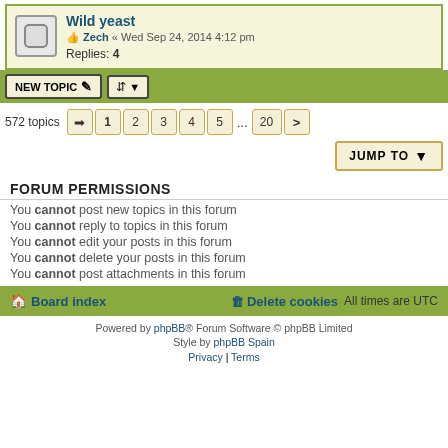Wild yeast — Zech « Wed Sep 24, 2014 4:12 pm — Replies: 4
NEW TOPIC | sort | 572 topics | 1 2 3 4 5 ... 20 >
JUMP TO
FORUM PERMISSIONS
You cannot post new topics in this forum
You cannot reply to topics in this forum
You cannot edit your posts in this forum
You cannot delete your posts in this forum
You cannot post attachments in this forum
Board index | Delete cookies | All times are UTC
Powered by phpBB® Forum Software © phpBB Limited | Style by phpBB Spain | Privacy | Terms